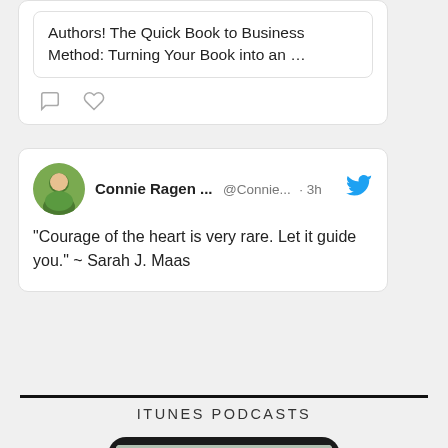Authors! The Quick Book to Business Method: Turning Your Book into an …
Connie Ragen ... @Connie... · 3h
"Courage of the heart is very rare. Let it guide you." ~ Sarah J. Maas
ITUNES PODCASTS
[Figure (photo): iPhone/iPod device showing a podcast app screen with a woman's photo and a microphone icon button labeled 'I Want To Hear From You!']